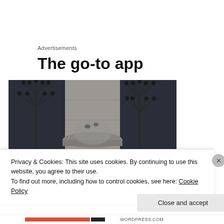Advertisements
The go-to app
[Figure (photo): Close-up photograph of a stone tower or spire with ornate iron finials on either side, against a blue sky background. Dark architectural slate or metal roof elements frame the central stone column.]
Privacy & Cookies: This site uses cookies. By continuing to use this website, you agree to their use.
To find out more, including how to control cookies, see here: Cookie Policy
Close and accept